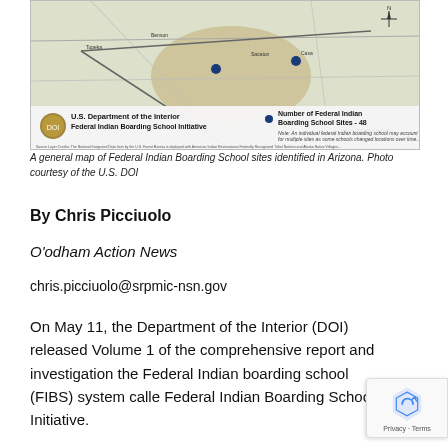[Figure (map): A general map of Federal Indian Boarding School sites identified in Arizona, showing a U.S. Department of the Interior Federal Indian Boarding School Initiative map with 48 boarding school sites marked. Includes DOI seal and note about Number of Federal Indian Boarding School Sites - 48.]
A general map of Federal Indian Boarding School sites identified in Arizona. Photo courtesy of the U.S. DOI
By Chris Picciuolo
O'odham Action News
chris.picciuolo@srpmic-nsn.gov
On May 11, the Department of the Interior (DOI) released Volume 1 of the comprehensive report and investigation the Federal Indian boarding school (FIBS) system called Federal Indian Boarding School Initiative.